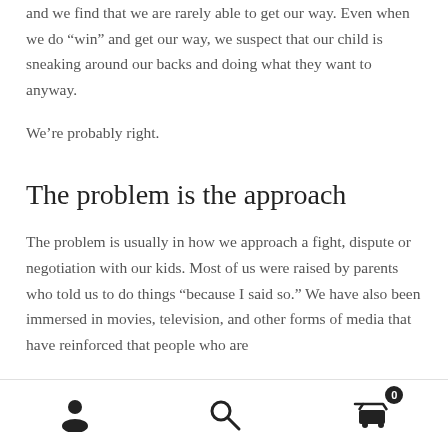and we find that we are rarely able to get our way. Even when we do “win” and get our way, we suspect that our child is sneaking around our backs and doing what they want to anyway.
We’re probably right.
The problem is the approach
The problem is usually in how we approach a fight, dispute or negotiation with our kids. Most of us were raised by parents who told us to do things “because I said so.” We have also been immersed in movies, television, and other forms of media that have reinforced that people who are